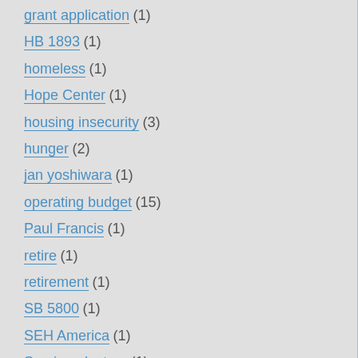grant application (1)
HB 1893 (1)
homeless (1)
Hope Center (1)
housing insecurity (3)
hunger (2)
jan yoshiwara (1)
operating budget (15)
Paul Francis (1)
retire (1)
retirement (1)
SB 5800 (1)
SEH America (1)
Semiconductors (1)
State Board (37)
strategic plan (1)